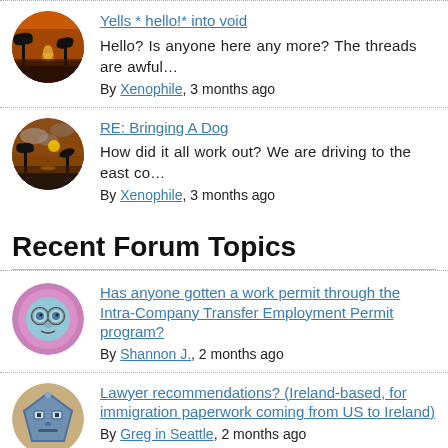Yells * hello!* into void
Hello? Is anyone here any more? The threads are awful…
By Xenophile, 3 months ago
RE: Bringing A Dog
How did it all work out? We are driving to the east co…
By Xenophile, 3 months ago
Recent Forum Topics
Has anyone gotten a work permit through the Intra-Company Transfer Employment Permit program?
By Shannon J., 2 months ago
Lawyer recommendations? (Ireland-based, for immigration paperwork coming from US to Ireland)
By Greg in Seattle, 2 months ago